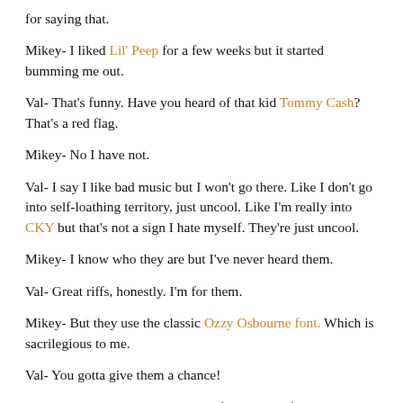for saying that.
Mikey- I liked Lil' Peep for a few weeks but it started bumming me out.
Val- That's funny. Have you heard of that kid Tommy Cash? That's a red flag.
Mikey- No I have not.
Val- I say I like bad music but I won't go there. Like I don't go into self-loathing territory, just uncool. Like I'm really into CKY but that's not a sign I hate myself. They're just uncool.
Mikey- I know who they are but I've never heard them.
Val- Great riffs, honestly. I'm for them.
Mikey- But they use the classic Ozzy Osbourne font. Which is sacrilegious to me.
Val- You gotta give them a chance!
Mikey- Probably won't. The Ozzy font is a red flag.